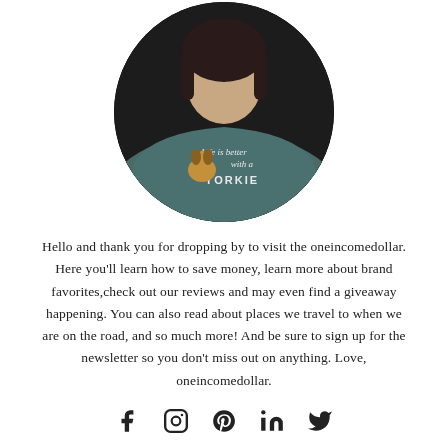[Figure (photo): Circular cropped photo of a woman wearing a dark grey sweater with text 'Life is better with a YORKIE' and a Yorkie dog graphic on it.]
Hello and thank you for dropping by to visit the oneincomedollar. Here you'll learn how to save money, learn more about brand favorites,check out our reviews and may even find a giveaway happening. You can also read about places we travel to when we are on the road, and so much more! And be sure to sign up for the newsletter so you don't miss out on anything. Love, oneincomedollar.
[Figure (infographic): Social media icons row: Facebook (f), Instagram (circle), Pinterest (P), LinkedIn (in), Twitter (bird)]